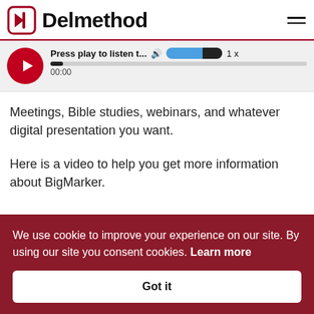Delmethod
[Figure (screenshot): Audio player widget with play button, title 'Press play to listen t...', speaker icon, volume/progress bar, and timestamp 00:00, speed 1x]
Meetings, Bible studies, webinars, and whatever digital presentation you want.
Here is a video to help you get more information about BigMarker.
We use cookie to improve your experience on our site. By using our site you consent cookies. Learn more
Got it